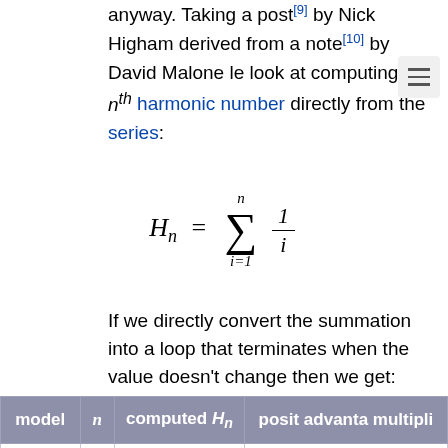anyway. Taking a post[9] by Nick Higham derived from a note[10] by David Malone le look at computing the n^th harmonic number directly from the series:
If we directly convert the summation into a loop that terminates when the value doesn't change then we get:
| model | n | computed H_n | positive advantage multipli... |
| --- | --- | --- | --- |
| bfloat16 | 65 | 5.0625 | 0.12670... |